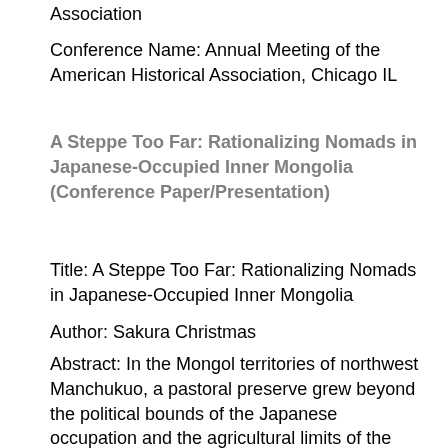Association
Conference Name: Annual Meeting of the American Historical Association, Chicago IL
A Steppe Too Far: Rationalizing Nomads in Japanese-Occupied Inner Mongolia (Conference Paper/Presentation)
Title: A Steppe Too Far: Rationalizing Nomads in Japanese-Occupied Inner Mongolia
Author: Sakura Christmas
Abstract: In the Mongol territories of northwest Manchukuo, a pastoral preserve grew beyond the political bounds of the Japanese occupation and the agricultural limits of the land. Indigenous leaders convinced Manchukuo authorities to ban further land reclamation on the steppe as way to “revive the Mongol race” through nomadic practice. The Five Year Plan of 1936, however, sought to eliminate the nomadic aspect of herding because its Japanese architects did not see